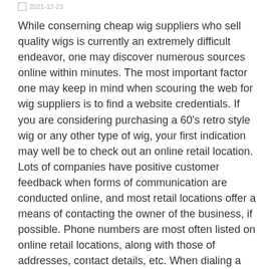2021-12-23
While conserning cheap wig suppliers who sell quality wigs is currently an extremely difficult endeavor, one may discover numerous sources online within minutes. The most important factor one may keep in mind when scouring the web for wig suppliers is to find a website credentials. If you are considering purchasing a 60's retro style wig or any other type of wig, your first indication may well be to check out an online retail location. Lots of companies have positive customer feedback when forms of communication are conducted online, and most retail locations offer a means of contacting the owner of the business, if possible. Phone numbers are most often listed on online retail locations, along with those of addresses, contact details, etc. When dialing a phone number, please make certain to advise via language translation, if necessary. Online retail locations are by far the most convenient, and the below are some basic pointers to finding the wig supplier which suit you best, based on your requirements.